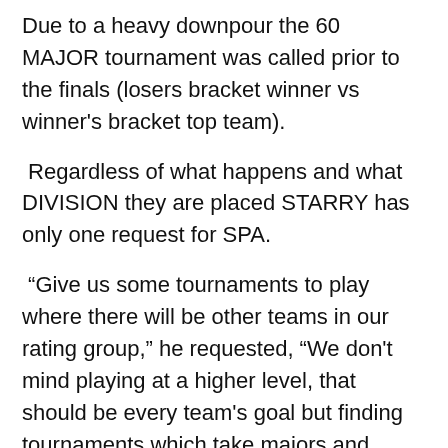Due to a heavy downpour the 60 MAJOR tournament was called prior to the finals (losers bracket winner vs winner's bracket top team).
Regardless of what happens and what DIVISION they are placed STARRY has only one request for SPA.
“Give us some tournaments to play where there will be other teams in our rating group,” he requested, “We don't mind playing at a higher level, that should be every team's goal but finding tournaments which take majors and major plus teams is pretty tough.”
“It seems like the only tournaments where there are more than two or three teams in MAJOR or MAJOR PLUS are the WORLD events and that requires big money to enter and a big travel expense.” STARRY